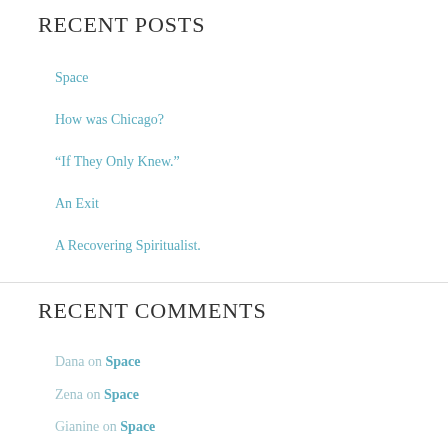RECENT POSTS
Space
How was Chicago?
“If They Only Knew.”
An Exit
A Recovering Spiritualist.
RECENT COMMENTS
Dana on Space
Zena on Space
Gianine on Space
Gail on Space
How was Chicago? - Rational Creatures :: Rational Creatures | on Perception and the Fog of Parenthood